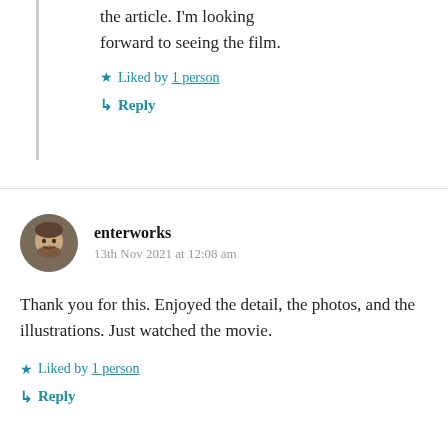the article. I'm looking forward to seeing the film.
★ Liked by 1 person
↳ Reply
enterworks
13th Nov 2021 at 12:08 am
Thank you for this. Enjoyed the detail, the photos, and the illustrations. Just watched the movie.
★ Liked by 1 person
↳ Reply